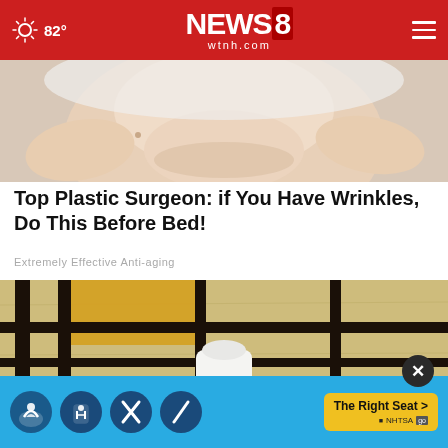NEWS8 wtnh.com — 82°
[Figure (photo): Close-up photo of a person's lower face and chin area, with hands touching the face, suggesting a skincare or cosmetic treatment context.]
Top Plastic Surgeon: if You Have Wrinkles, Do This Before Bed!
Extremely Effective Anti-aging
[Figure (photo): Photo showing a metal rack or cage-like structure mounted on a sandy/brick wall with yellow paneling visible behind it, and a white bottle or container below it.]
[Figure (infographic): NHTSA advertisement banner with blue background showing car seat safety icons and 'The Right Seat >' call-to-action button in yellow.]